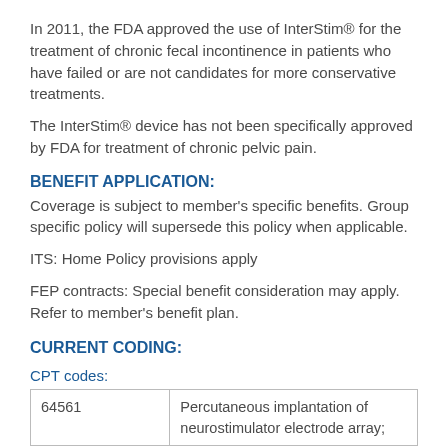In 2011, the FDA approved the use of InterStim® for the treatment of chronic fecal incontinence in patients who have failed or are not candidates for more conservative treatments.
The InterStim® device has not been specifically approved by FDA for treatment of chronic pelvic pain.
BENEFIT APPLICATION:
Coverage is subject to member's specific benefits. Group specific policy will supersede this policy when applicable.
ITS: Home Policy provisions apply
FEP contracts: Special benefit consideration may apply. Refer to member's benefit plan.
CURRENT CODING:
CPT codes:
| 64561 | Percutaneous implantation of neurostimulator electrode array; |